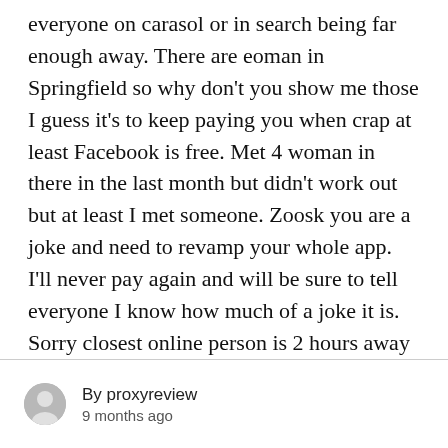everyone on carasol or in search being far enough away. There are eoman in Springfield so why don't you show me those I guess it's to keep paying you when crap at least Facebook is free. Met 4 woman in there in the last month but didn't work out but at least I met someone. Zoosk you are a joke and need to revamp your whole app. I'll never pay again and will be sure to tell everyone I know how much of a joke it is. Sorry closest online person is 2 hours away but in a city of 365 k people it's hard to believe some one isn't on here. I guess I need to call a lawyer and go after my money and suing this company
By proxyreview
9 months ago